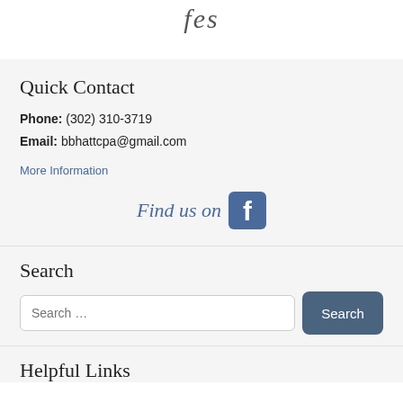Quick Contact
Phone: (302) 310-3719
Email: bbhattcpa@gmail.com
More Information
[Figure (logo): Find us on Facebook — text with Facebook icon logo]
Search
Search …
Helpful Links